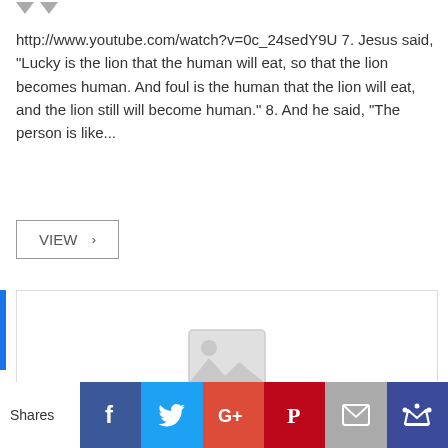http://www.youtube.com/watch?v=0c_24sedY9U 7. Jesus said, "Lucky is the lion that the human will eat, so that the lion becomes human. And foul is the human that the lion will eat, and the lion still will become human." 8. And he said, "The person is like...
VIEW >
[Figure (photo): Placeholder image box with a grey image icon in the center]
Shares